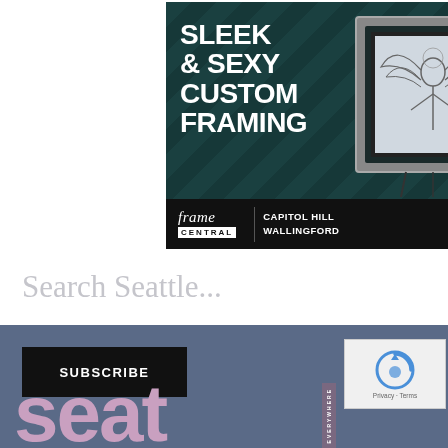[Figure (photo): Advertisement for Frame Central custom framing shop. Dark teal chevron-patterned background with a framed artwork (angel/phoenix drawing) displayed on an easel. White bold text reads 'SLEEK & SEXY CUSTOM FRAMING'. Footer bar shows Frame Central logo, locations 'CAPITOL HILL / WALLINGFORD', and a 'LEARN MORE' button.]
Search Seattle...
[Figure (logo): Bottom footer section with blue-gray background, SUBSCRIBE button, partial 'seattle' letters in pink/mauve at bottom, and a vertical 'EVERYWHERE' text bar. reCAPTCHA widget partially visible on right.]